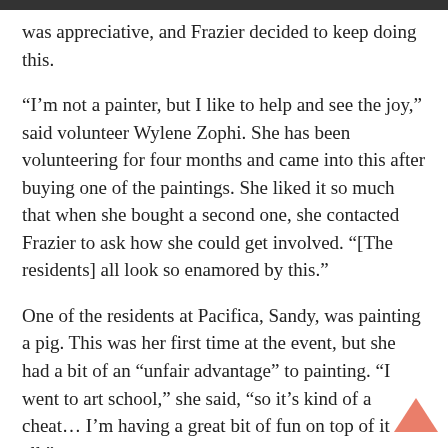was appreciative, and Frazier decided to keep doing this.
“I’m not a painter, but I like to help and see the joy,” said volunteer Wylene Zophi. She has been volunteering for four months and came into this after buying one of the paintings. She liked it so much that when she bought a second one, she contacted Frazier to ask how she could get involved. “[The residents] all look so enamored by this.”
One of the residents at Pacifica, Sandy, was painting a pig. This was her first time at the event, but she had a bit of an “unfair advantage” to painting. “I went to art school,” she said, “so it’s kind of a cheat… I’m having a great bit of fun on top of it all.”
Sandy picked the pig to paint because it reminded her of a pig she used to have when she was younger and used to have a farm. “I try to paint regularly, but the further I get